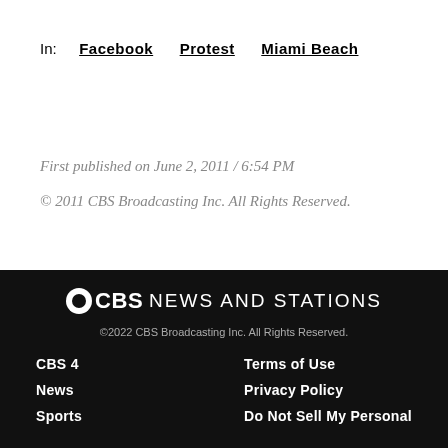In: Facebook Protest Miami Beach
First published on June 2, 2011 / 6:54 PM
© 2011 CBS Broadcasting Inc. All Rights Reserved.
©CBS NEWS AND STATIONS
©2022 CBS Broadcasting Inc. All Rights Reserved.
CBS 4 | Terms of Use
News | Privacy Policy
Sports | Do Not Sell My Personal